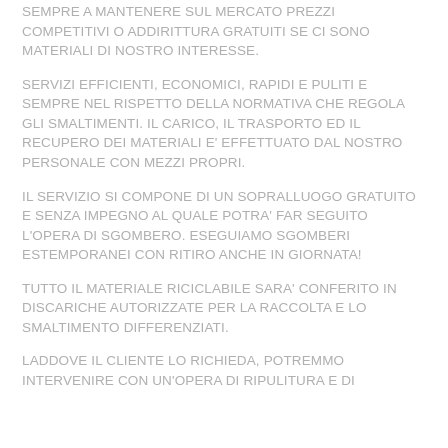SEMPRE A MANTENERE SUL MERCATO PREZZI COMPETITIVI O ADDIRITTURA GRATUITI SE CI SONO MATERIALI DI NOSTRO INTERESSE.
SERVIZI EFFICIENTI, ECONOMICI, RAPIDI E PULITI E SEMPRE NEL RISPETTO DELLA NORMATIVA CHE REGOLA GLI SMALTIMENTI. IL CARICO, IL TRASPORTO ED IL RECUPERO DEI MATERIALI E' EFFETTUATO DAL NOSTRO PERSONALE CON MEZZI PROPRI.
IL SERVIZIO SI COMPONE DI UN SOPRALLUOGO GRATUITO E SENZA IMPEGNO AL QUALE POTRA' FAR SEGUITO L'OPERA DI SGOMBERO. ESEGUIAMO SGOMBERI ESTEMPORANEI CON RITIRO ANCHE IN GIORNATA!
TUTTO IL MATERIALE RICICLABILE SARA' CONFERITO IN DISCARICHE AUTORIZZATE PER LA RACCOLTA E LO SMALTIMENTO DIFFERENZIATI.
LADDOVE IL CLIENTE LO RICHIEDA, POTREMMO INTERVENIRE CON UN'OPERA DI RIPULITURA E DI